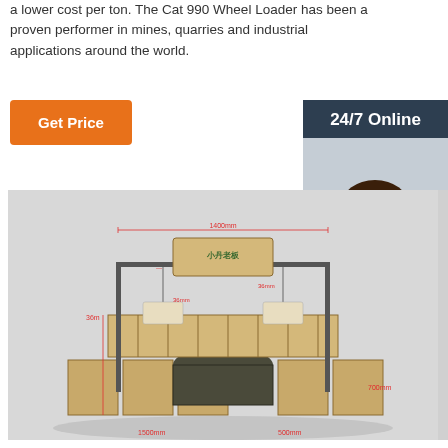a lower cost per ton. The Cat 990 Wheel Loader has been a proven performer in mines, quarries and industrial applications around the world.
Get Price
[Figure (photo): Customer service agent woman with headset smiling, with '24/7 Online' label, 'Click here for free chat!' text, and orange QUOTATION button]
[Figure (engineering-diagram): 3D rendered diagram of a retail display stand/fixture with wooden bins and hanging price tags, with dimension annotations in red (1400mm width, 700mm depth, etc.)]